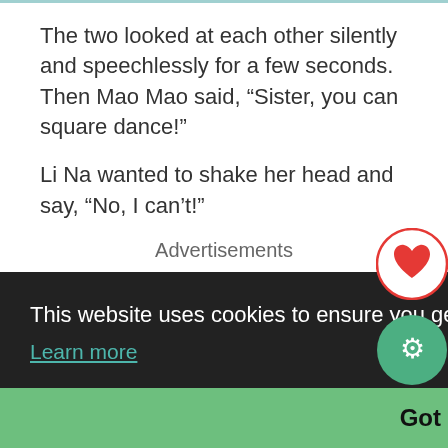The two looked at each other silently and speechlessly for a few seconds. Then Mao Mao said, “Sister, you can square dance!”
Li Na wanted to shake her head and say, “No, I can’t!”
Advertisements
This website uses cookies to ensure you get the best experience on our website.
Learn more
Got it!